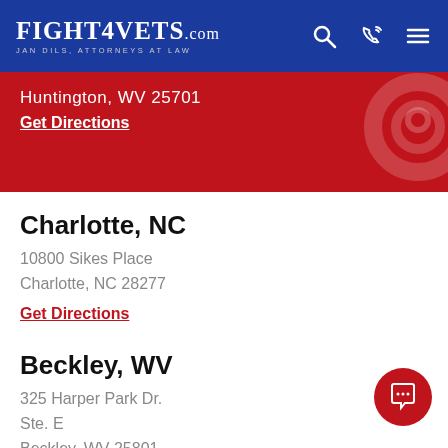FIGHT4VETS.com — JAN DILS, ATTORNEYS AT LAW
Huntington, WV  25701
Get Directions
Charlotte, NC
10800 Sikes Place
Charlotte,  NC  28277
Get Directions
Beckley, WV
325 Harper Park Dr.
Ste. E
Beckley,  WV  25801
Get Directions
Logan, WV
107 LB & T Way